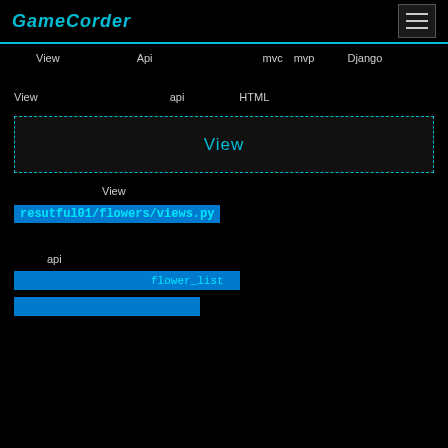GameCorder
View　　　　　　　Api　　　　　　　　　　mvc　mvp　　　Django
View　　　　　　　　　　　　api　　　　　HTML
[Figure (screenshot): Button labeled View　　　　 with dashed cyan border on dark background]
View
resutful01/flowers/views.py
api
flower_list